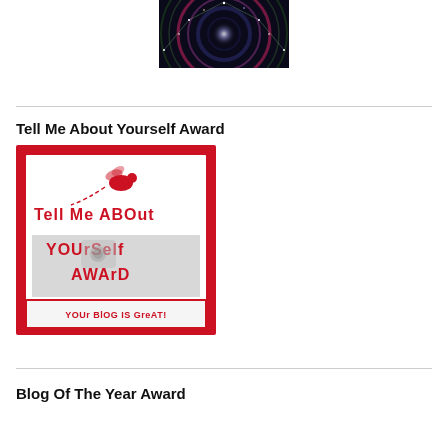[Figure (illustration): Circular cosmic/zodiac wheel illustration with colorful spiral galaxy design on dark background]
Tell Me About Yourself Award
[Figure (illustration): Tell Me About Yourself Award badge image with red border, showing a bee graphic and text 'Tell Me About Yourself Award' and 'Your blog is great!']
Blog Of The Year Award